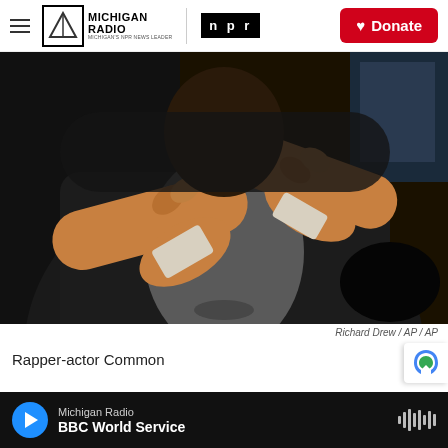Michigan Radio | NPR | Donate
[Figure (photo): Close-up photo of a person (rapper-actor Common) with their arms crossed and hands raised near their face, wearing a dark jacket and grey shirt. The background is dark and blurred.]
Richard Drew / AP / AP
Rapper-actor Common
Michigan Radio — BBC World Service (audio player bar)